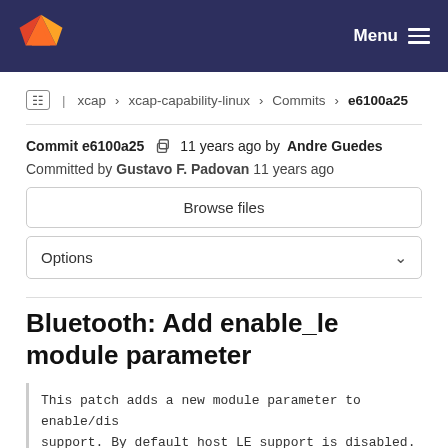GitLab Menu
xcap › xcap-capability-linux › Commits › e6100a25
Commit e6100a25  11 years ago by Andre Guedes
Committed by Gustavo F. Padovan 11 years ago
Browse files
Options
Bluetooth: Add enable_le module parameter
This patch adds a new module parameter to enable/dis support. By default host LE support is disabled.